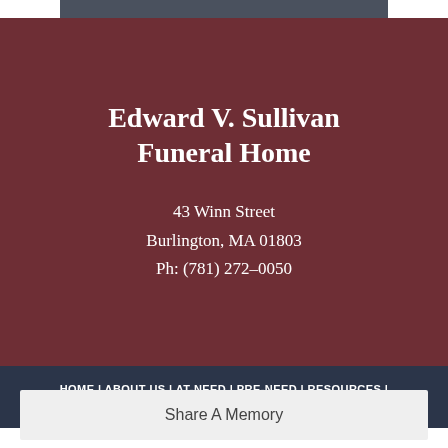Edward V. Sullivan Funeral Home
43 Winn Street
Burlington, MA 01803
Ph: (781) 272-0050
HOME | ABOUT US | AT-NEED | PRE-NEED | RESOURCES | MAP & DIRECTIONS | OBITUARIES
Share A Memory